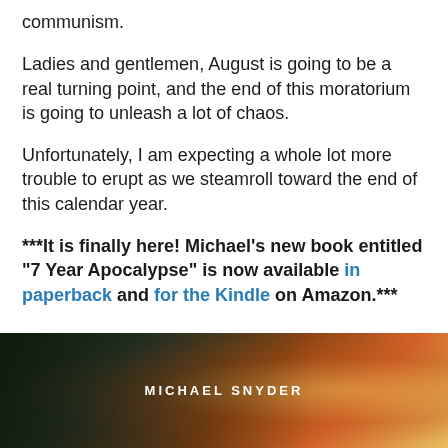communism.
Ladies and gentlemen, August is going to be a real turning point, and the end of this moratorium is going to unleash a lot of chaos.
Unfortunately, I am expecting a whole lot more trouble to erupt as we steamroll toward the end of this calendar year.
***It is finally here! Michael’s new book entitled “7 Year Apocalypse” is now available in paperback and for the Kindle on Amazon.***
[Figure (photo): Book cover image for '7 Year Apocalypse' by Michael Snyder with dark green, orange, and gold gradient background and author name text]